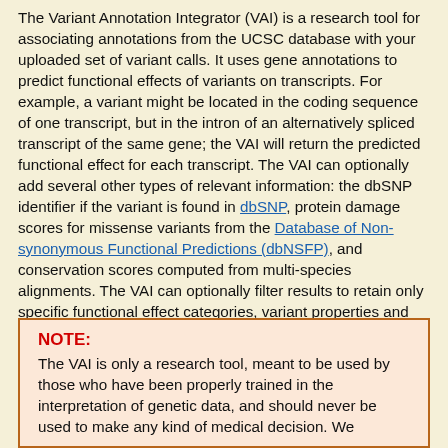The Variant Annotation Integrator (VAI) is a research tool for associating annotations from the UCSC database with your uploaded set of variant calls. It uses gene annotations to predict functional effects of variants on transcripts. For example, a variant might be located in the coding sequence of one transcript, but in the intron of an alternatively spliced transcript of the same gene; the VAI will return the predicted functional effect for each transcript. The VAI can optionally add several other types of relevant information: the dbSNP identifier if the variant is found in dbSNP, protein damage scores for missense variants from the Database of Non-synonymous Functional Predictions (dbNSFP), and conservation scores computed from multi-species alignments. The VAI can optionally filter results to retain only specific functional effect categories, variant properties and multi-species conservation status.
NOTE: The VAI is only a research tool, meant to be used by those who have been properly trained in the interpretation of genetic data, and should never be used to make any kind of medical decision. We